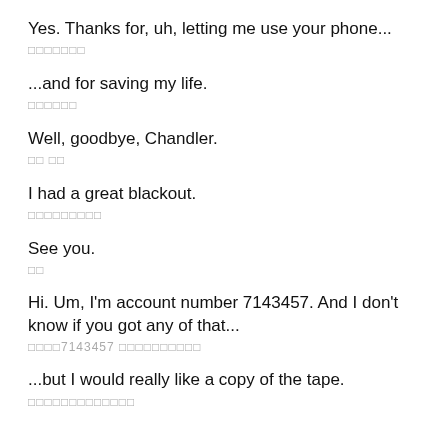Yes. Thanks for, uh, letting me use your phone...
□□□□□□□
...and for saving my life.
□□□□□□
Well, goodbye, Chandler.
□□ □□
I had a great blackout.
□□□□□□□□□
See you.
□□
Hi. Um, I'm account number 7143457. And I don't know if you got any of that...
□□□□7143457 □□□□□□□□□□
...but I would really like a copy of the tape.
□□□□□□□□□□□□□